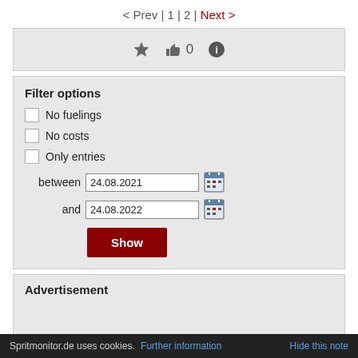< Prev | 1 | 2 | Next >
[Figure (other): Toolbar with star icon, thumbs-up icon with count 0, and info icon]
Filter options
No fuelings (checkbox unchecked)
No costs (checkbox unchecked)
Only entries (checkbox unchecked)
between 24.08.2021
and 24.08.2022
Show
Advertisement
Spritmonitor.de uses cookies. Further information   Hide this note